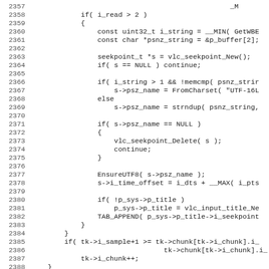[Figure (screenshot): Source code listing showing lines 2357-2388 of a C source file. Code includes conditional logic for reading strings, seekpoint creation, UTF-8 handling, and chunk/sample processing.]